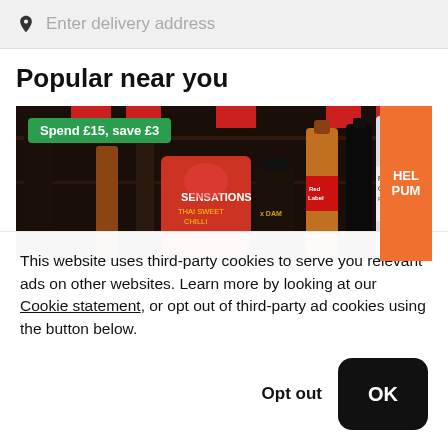Enter delivery address
Popular near you
[Figure (photo): Banner image of liquor bottles (whisky, vodka, gin) on store shelves with Sensations crisps and Русский Стандарт vodka visible. A green promotional badge reads 'Spend £15, save £3'. The right edge shows an orange panel with partial text 'HEL PUM'.]
This website uses third-party cookies to serve you relevant ads on other websites. Learn more by looking at our Cookie statement, or opt out of third-party ad cookies using the button below.
Opt out
OK